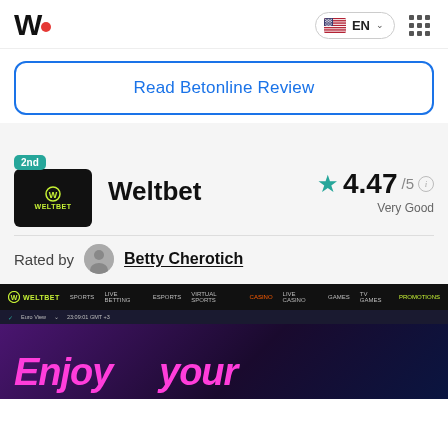W• EN
Read Betonline Review
[Figure (screenshot): Weltbet casino logo on black background with teal badge showing '2nd']
Weltbet  4.47/5  Very Good
Rated by  Betty Cherotich
[Figure (screenshot): Screenshot of Weltbet website showing navigation bar with SPORTS, LIVE BETTING, ESPORTS, VIRTUAL SPORTS, CASINO, LIVE CASINO, GAMES, TV GAMES, PROMOTIONS and homepage with 'Enjoy your' text in neon pink on dark purple background]